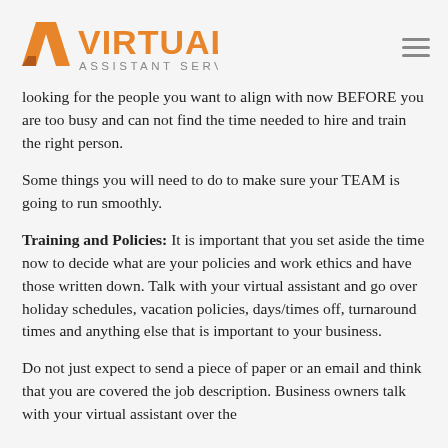Virtual Assistant Services
looking for the people you want to align with now BEFORE you are too busy and can not find the time needed to hire and train the right person.
Some things you will need to do to make sure your TEAM is going to run smoothly.
Training and Policies: It is important that you set aside the time now to decide what are your policies and work ethics and have those written down. Talk with your virtual assistant and go over holiday schedules, vacation policies, days/times off, turnaround times and anything else that is important to your business.
Do not just expect to send a piece of paper or an email and think that you are covered the job description. Business owners talk with your virtual assistant over the